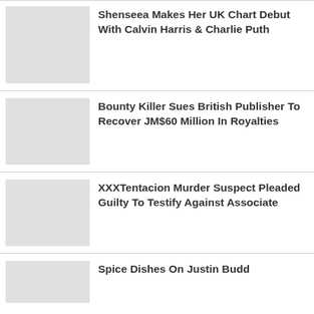Shenseea Makes Her UK Chart Debut With Calvin Harris & Charlie Puth
Bounty Killer Sues British Publisher To Recover JM$60 Million In Royalties
XXXTentacion Murder Suspect Pleaded Guilty To Testify Against Associate
Spice Dishes On Justin Budd